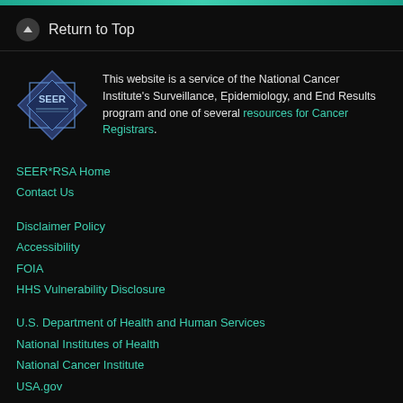Return to Top
[Figure (logo): SEER logo - blue diamond/shield shaped logo with SEER text]
This website is a service of the National Cancer Institute's Surveillance, Epidemiology, and End Results program and one of several resources for Cancer Registrars.
SEER*RSA Home
Contact Us
Disclaimer Policy
Accessibility
FOIA
HHS Vulnerability Disclosure
U.S. Department of Health and Human Services
National Institutes of Health
National Cancer Institute
USA.gov